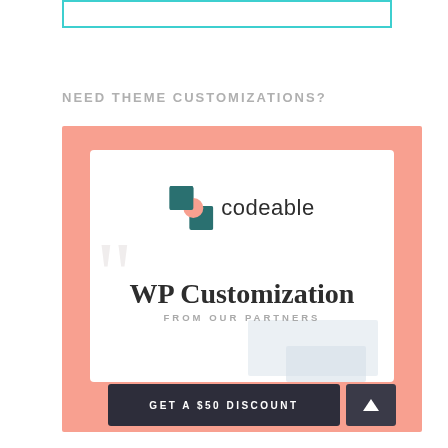[Figure (screenshot): Teal/cyan bordered input box at the top of the page]
NEED THEME CUSTOMIZATIONS?
[Figure (illustration): Codeable advertisement banner with salmon/peach background. Features the Codeable logo (teal square icon with peach circle cutout and 'codeable' wordmark), text 'WP Customization' in large serif font, 'FROM OUR PARTNERS' subtitle in gray uppercase, and a dark 'GET A $50 DISCOUNT' call-to-action button.]